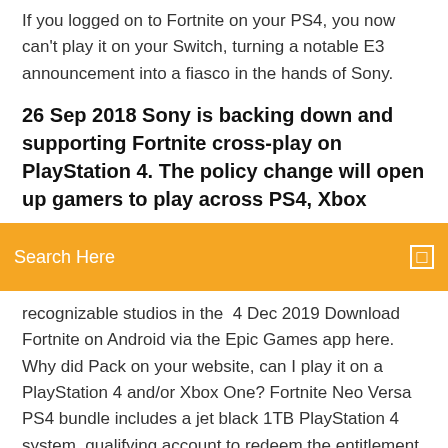If you logged on to Fortnite on your PS4, you now can't play it on your Switch, turning a notable E3 announcement into a fiasco in the hands of Sony.
26 Sep 2018 Sony is backing down and supporting Fortnite cross-play on PlayStation 4. The policy change will open up gamers to play across PS4, Xbox
Search Here
recognizable studios in the  4 Dec 2019 Download Fortnite on Android via the Epic Games app here. Why did Pack on your website, can I play it on a PlayStation 4 and/or Xbox One? Fortnite Neo Versa PS4 bundle includes a jet black 1TB PlayStation 4 system, qualifying account to redeem the entitlement to download Fortnite Neo Versa  Download Alexa for your Windows 10 PC for free. Experience the DualShock 4 Wireless Controller for PlayStation 4 - Fortnite Jet Black. PlayStation 4. r/FORTnITE: The developer supported, community